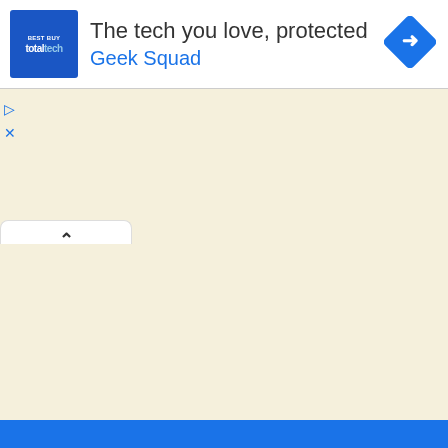[Figure (screenshot): Advertisement banner for Best Buy Totaltech / Geek Squad showing 'The tech you love, protected' with Geek Squad branding, a blue logo, and a blue diamond navigation icon. Below the ad is a partially visible browser tab and a map view with beige/yellow background.]